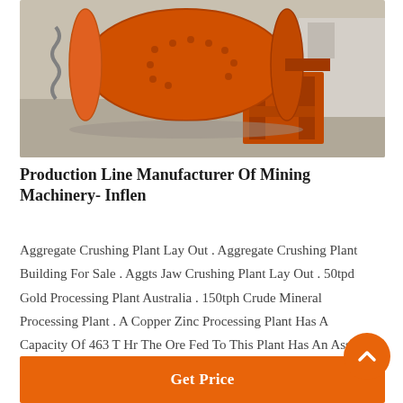[Figure (photo): Orange industrial ball mill / grinding machine placed outdoors on concrete ground, mounted on an orange steel frame structure. The machine is large, cylindrical and orange-painted.]
Production Line Manufacturer Of Mining Machinery- Inflen
Aggregate Crushing Plant Lay Out . Aggregate Crushing Plant Building For Sale . Aggts Jaw Crushing Plant Lay Out . 50tpd Gold Processing Plant Australia . 150tph Crude Mineral Processing Plant . A Copper Zinc Processing Plant Has A Capacity Of 463 T Hr The Ore Fed To This Plant Has An Assay Of 192 Cu And 294 Zn A Single
Get Price